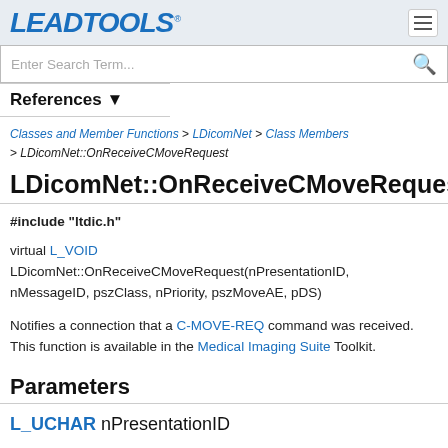LEADTOOLS
Enter Search Term...
References ▼
Classes and Member Functions > LDicomNet > Class Members > LDicomNet::OnReceiveCMoveRequest
LDicomNet::OnReceiveCMoveRequest
#include "ltdic.h"
virtual L_VOID LDicomNet::OnReceiveCMoveRequest(nPresentationID, nMessageID, pszClass, nPriority, pszMoveAE, pDS)
Notifies a connection that a C-MOVE-REQ command was received. This function is available in the Medical Imaging Suite Toolkit.
Parameters
L_UCHAR nPresentationID